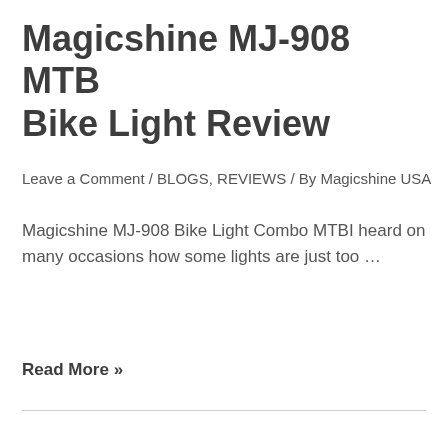Magicshine MJ-908 MTB Bike Light Review
Leave a Comment / BLOGS, REVIEWS / By Magicshine USA
Magicshine MJ-908 Bike Light Combo MTBI heard on many occasions how some lights are just too …
Read More »